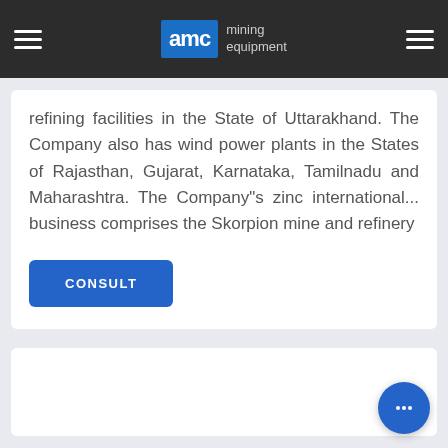AMC mining equipment
refining facilities in the State of Uttarakhand. The Company also has wind power plants in the States of Rajasthan, Gujarat, Karnataka, Tamilnadu and Maharashtra. The Company"s zinc international... business comprises the Skorpion mine and refinery
CONSULT